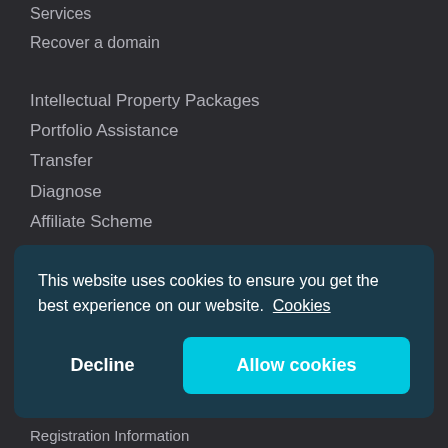Services
Recover a domain
Intellectual Property Packages
Portfolio Assistance
Transfer
Diagnose
Affiliate Scheme
Web Packages
Email Packages
Whois Lookups
Questions Answered
This website uses cookies to ensure you get the best experience on our website. Cookies
Decline
Allow cookies
Registration Information